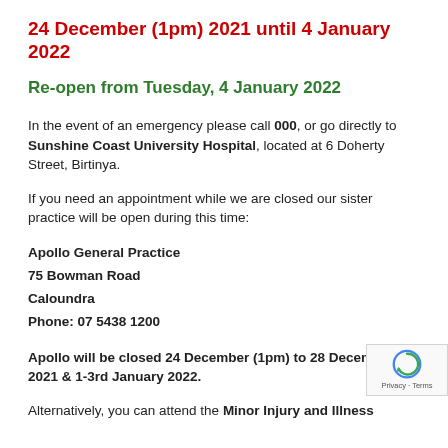24 December (1pm) 2021 until 4 January 2022
Re-open from Tuesday, 4 January 2022
In the event of an emergency please call 000, or go directly to Sunshine Coast University Hospital, located at 6 Doherty Street, Birtinya.
If you need an appointment while we are closed our sister practice will be open during this time:
Apollo General Practice
75 Bowman Road
Caloundra
Phone: 07 5438 1200
Apollo will be closed 24 December (1pm) to 28 December 2021 & 1-3rd January 2022.
Alternatively, you can attend the Minor Injury and Illness